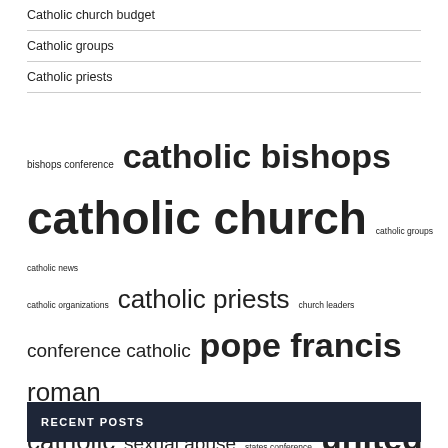Catholic church budget
Catholic groups
Catholic priests
[Figure (other): Tag cloud with terms: bishops conference, catholic bishops, catholic church, catholic groups, catholic news, catholic organizations, catholic priests, church leaders, conference catholic, pope francis, roman catholic, sexual abuse, states conference, united states, young people]
RECENT POSTS